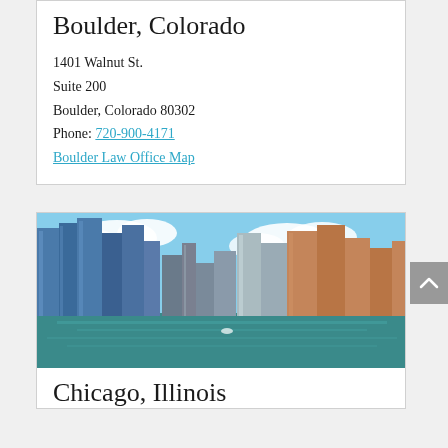Boulder, Colorado
1401 Walnut St.
Suite 200
Boulder, Colorado 80302
Phone: 720-900-4171
Boulder Law Office Map
[Figure (photo): City skyline photo showing Chicago river with tall skyscrapers and blue sky with clouds]
Chicago, Illinois